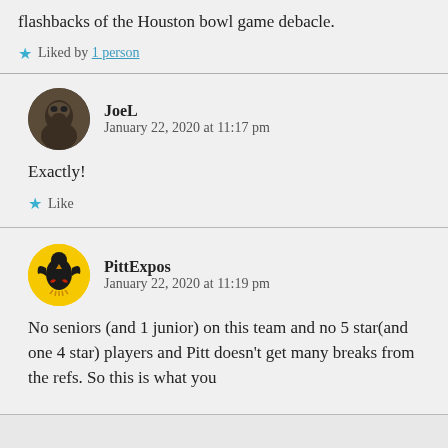flashbacks of the Houston bowl game debacle.
Liked by 1 person
JoeL
January 22, 2020 at 11:17 pm
Exactly!
Like
PittExpos
January 22, 2020 at 11:19 pm
No seniors (and 1 junior) on this team and no 5 star(and one 4 star) players and Pitt doesn't get many breaks from the refs. So this is what you